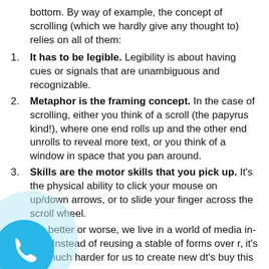bottom. By way of example, the concept of scrolling (which we hardly give any thought to) relies on all of them:
It has to be legible. Legibility is about having cues or signals that are unambiguous and recognizable.
Metaphor is the framing concept. In the case of scrolling, either you think of a scroll (the papyrus kind!), where one end rolls up and the other end unrolls to reveal more text, or you think of a window in space that you pan around.
Skills are the motor skills that you pick up. It's the physical ability to click your mouse on up/down arrows, or to slide your finger across the scroll wheel.
For better or worse, we live in a world of media in tion. Instead of reusing a stable of forms over r, it's not much harder for us to create new d t's buy this theme.